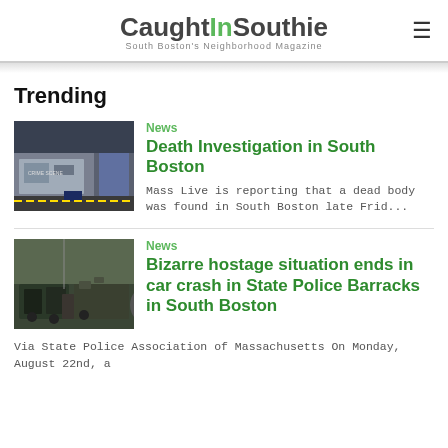CaughtInSouthie — South Boston's Neighborhood Magazine
Trending
[Figure (photo): Crime scene van / police vehicle outside a building]
News
Death Investigation in South Boston
Mass Live is reporting that a dead body was found in South Boston late Frid...
[Figure (photo): Cars and people outside at night near State Police Barracks]
News
Bizarre hostage situation ends in car crash in State Police Barracks in South Boston
Via State Police Association of Massachusetts On Monday, August 22nd, a